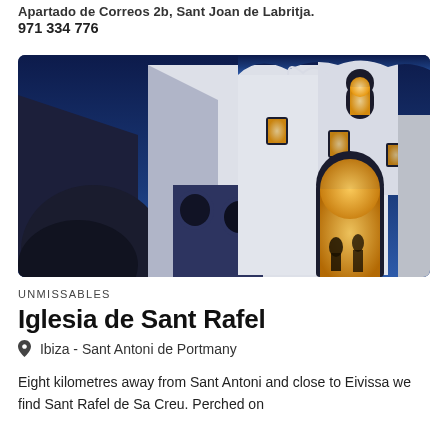Apartado de Correos 2b, Sant Joan de Labritja. 971 334 776
[Figure (photo): Night photograph of Iglesia de Sant Rafel, a white-walled church with blue-grey architectural elements, arched doorways and bell tower, illuminated windows glowing yellow, shot from a low angle against a deep blue night sky.]
UNMISSABLES
Iglesia de Sant Rafel
Ibiza - Sant Antoni de Portmany
Eight kilometres away from Sant Antoni and close to Eivissa we find Sant Rafel de Sa Creu. Perched on